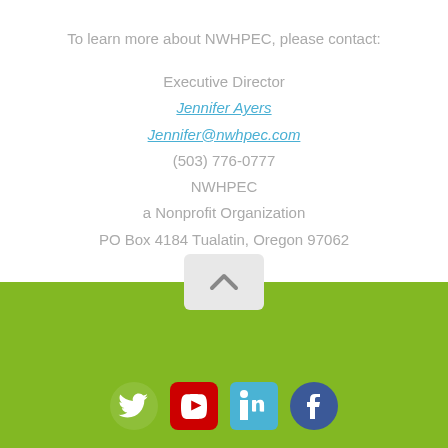To learn more about NWHPEC, please contact:
Executive Director
Jennifer Ayers
Jennifer@nwhpec.com
(503) 776-0777
NWHPEC
a Nonprofit Organization
PO Box 4184 Tualatin, Oregon 97062
[Figure (other): Scroll-to-top button with upward chevron arrow on light gray background, positioned at the top of the green footer section]
[Figure (other): Social media icons row: Twitter (white bird on transparent), YouTube (red play button), LinkedIn (blue square with 'in'), Facebook (dark blue circle with 'f')]